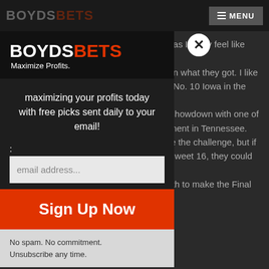BOYDS BETS — MENU
[Figure (screenshot): BoysdBets website modal popup overlay on a dark sports betting article page]
BOYDS BETS — Maximize Profits.
maximizing your profits today with free picks sent daily to your email!
email address...
Sign Up Now
No spam. No commitment. Unsubscribe any time.
ats, as I really feel like they l than what they got. I like k of No. 10 Iowa in the first ely showdown with one of rnament in Tennessee. quite the challenge, but if he Sweet 16, they could be South to make the Final
#12 Oregon